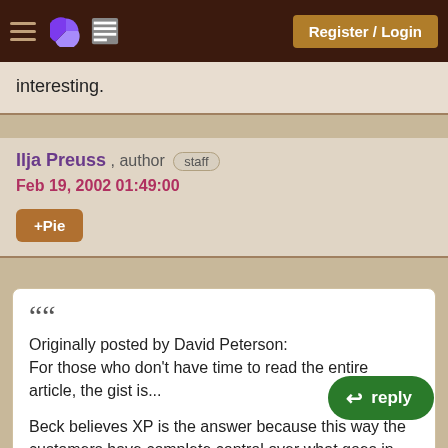Register / Login
interesting.
Ilja Preuss , author [staff]
Feb 19, 2002 01:49:00
+Pie
""Originally posted by David Peterson:
For those who don't have time to read the entire article, the gist is...

Beck believes XP is the answer because this way the customers have complete control over what goes in the product and therefore get what they

Cooper believes that customers don't necessarily
reply